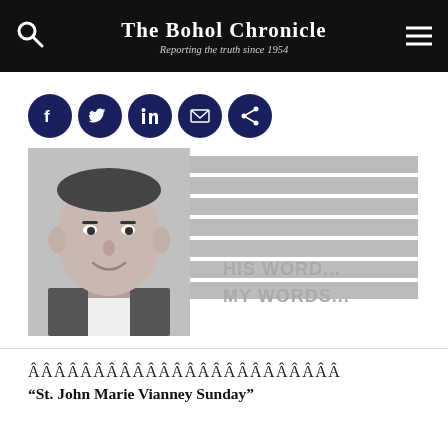The Bohol Chronicle — Reporting the truth since 1954
[Figure (illustration): Social media sharing icons row: Facebook, Twitter, LinkedIn, Email, Share — all dark navy circular buttons]
[Figure (photo): Column header image: black-and-white photo of a priest/columnist on the left, horizontal grey stripes on the right, with the column title 'HIS WORD... MY WORDS...' in grey bold text]
ÂÂÂÂÂÂÂÂÂÂÂÂÂÂÂÂÂÂÂÂÂÂÂÂ
“St. John Marie Vianney Sunday”